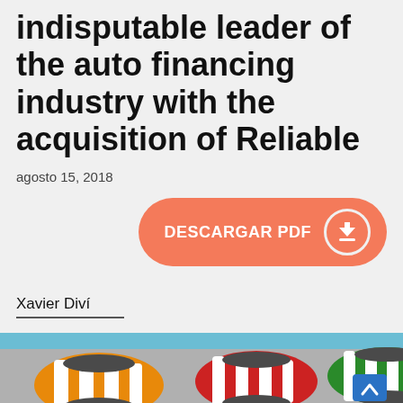indisputable leader of the auto financing industry with the acquisition of Reliable
agosto 15, 2018
[Figure (other): Orange button with text DESCARGAR PDF and a download arrow icon on the right side]
Xavier Diví
[Figure (illustration): Top-down view illustration of three cars (orange, red, and green/white striped) on a gray road with a light blue header band]